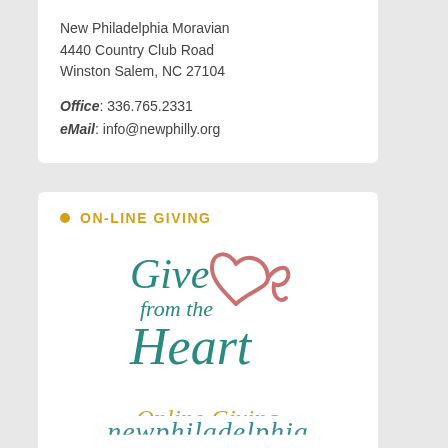New Philadelphia Moravian
4440 Country Club Road
Winston Salem, NC 27104

Office: 336.765.2331
eMail: info@newphilly.org
ON-LINE GIVING
[Figure (logo): Give from the Heart / Online Giving logo with teal cursive text and a rose-colored heart outline, and gold italic 'Online Giving' text below]
GIVE ONLINE TO